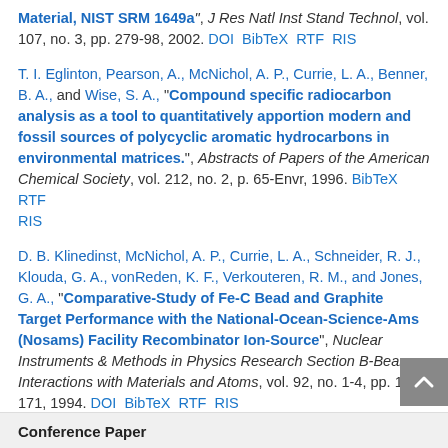Material, NIST SRM 1649a", J Res Natl Inst Stand Technol, vol. 107, no. 3, pp. 279-98, 2002. DOI BibTeX RTF RIS
T. I. Eglinton, Pearson, A., McNichol, A. P., Currie, L. A., Benner, B. A., and Wise, S. A., "Compound specific radiocarbon analysis as a tool to quantitatively apportion modern and fossil sources of polycyclic aromatic hydrocarbons in environmental matrices.", Abstracts of Papers of the American Chemical Society, vol. 212, no. 2, p. 65-Envr, 1996. BibTeX RTF RIS
D. B. Klinedinst, McNichol, A. P., Currie, L. A., Schneider, R. J., Klouda, G. A., vonReden, K. F., Verkouteren, R. M., and Jones, G. A., "Comparative-Study of Fe-C Bead and Graphite Target Performance with the National-Ocean-Science-Ams (Nosams) Facility Recombinator Ion-Source", Nuclear Instruments & Methods in Physics Research Section B-Beam Interactions with Materials and Atoms, vol. 92, no. 1-4, pp. 166-171, 1994. DOI BibTeX RTF RIS
Conference Paper